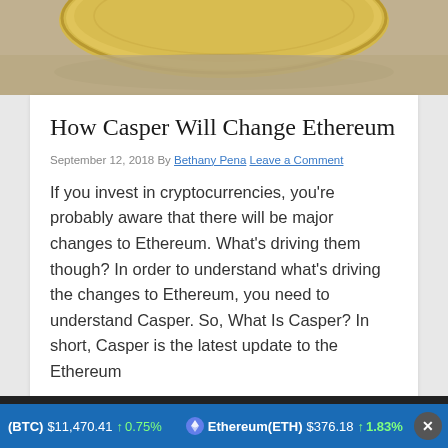[Figure (photo): Top portion of a gold coin photographed close-up, partially cropped]
How Casper Will Change Ethereum
September 12, 2018 By Bethany Pena Leave a Comment
If you invest in cryptocurrencies, you're probably aware that there will be major changes to Ethereum. What's driving them though? In order to understand what's driving the changes to Ethereum, you need to understand Casper. So, What Is Casper? In short, Casper is the latest update to the Ethereum
(BTC) $11,470.41 ↑ 0.75% Ethereum(ETH) $376.18 ↑ 1.83%